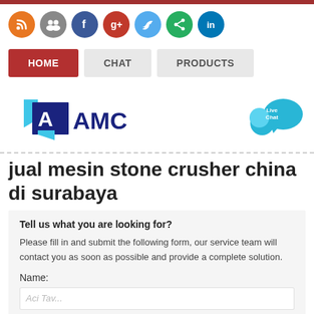[Figure (other): Social media icon buttons: RSS (orange), group (gray), Facebook (blue), Google+ (red), Twitter (light blue), share (green), LinkedIn (dark blue) — all circular icons in a row]
[Figure (other): Navigation bar with three buttons: HOME (active, red background), CHAT (gray), PRODUCTS (gray)]
[Figure (logo): AMC company logo: dark blue square with white letter A and blue arrow shapes, beside bold navy AMC text. Right side shows a Live Chat bubble icon in teal/cyan.]
jual mesin stone crusher china di surabaya
Tell us what you are looking for?
Please fill in and submit the following form, our service team will contact you as soon as possible and provide a complete solution.
Name: